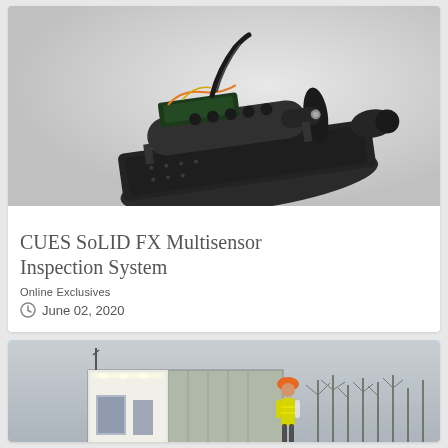[Figure (photo): CUES SoLID FX Multisensor Inspection System device — a black sled-shaped apparatus with cylindrical sensor modules mounted on top, with electronic components and wiring visible]
CUES SoLID FX Multisensor Inspection System
Online Exclusives
June 02, 2020
[Figure (photo): A worker in a high-visibility yellow vest and orange hard hat standing near a shipping container converted into a mobile unit, with bare winter trees in the background]